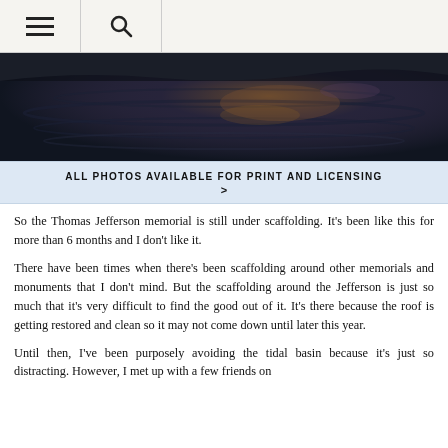≡  🔍
[Figure (photo): Dark moody photo of rippling water with reflections of warm light, likely the tidal basin at night or dusk]
ALL PHOTOS AVAILABLE FOR PRINT AND LICENSING >
So the Thomas Jefferson memorial is still under scaffolding. It's been like this for more than 6 months and I don't like it.
There have been times when there's been scaffolding around other memorials and monuments that I don't mind. But the scaffolding around the Jefferson is just so much that it's very difficult to find the good out of it. It's there because the roof is getting restored and clean so it may not come down until later this year.
Until then, I've been purposely avoiding the tidal basin because it's just so distracting. However, I met up with a few friends on